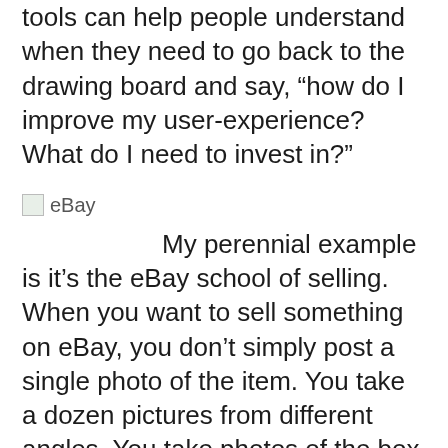tools can help people understand when they need to go back to the drawing board and say, “how do I improve my user-experience? What do I need to invest in?”
[Figure (logo): eBay logo placeholder/broken image with text label 'eBay']
My perennial example is it’s the eBay school of selling. When you want to sell something on eBay, you don’t simply post a single photo of the item. You take a dozen pictures from different angles. You take photos of the box it came in, photos of the paperwork and its stationery, photos of it in action, and you write a detailed description. You put all of this out there because, in order to sell the product, if the person can’t lay their hands on it the next best thing is to describe it in detail.